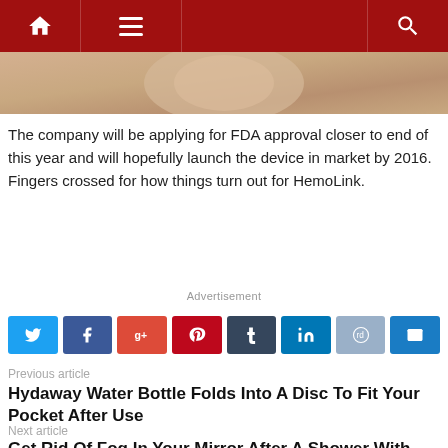Navigation bar with home, menu, and search icons
[Figure (photo): Close-up photo of a finger tip, likely demonstrating HemoLink device usage]
The company will be applying for FDA approval closer to end of this year and will hopefully launch the device in market by 2016. Fingers crossed for how things turn out for HemoLink.
Advertisement
[Figure (infographic): Row of social media share buttons: Twitter, Facebook, Google+, Pinterest, Tumblr, LinkedIn, Reddit, Email]
Previous article
Hydaway Water Bottle Folds Into A Disc To Fit Your Pocket After Use
Next article
Get Rid Of Fog In Your Mirror After A Shower With This